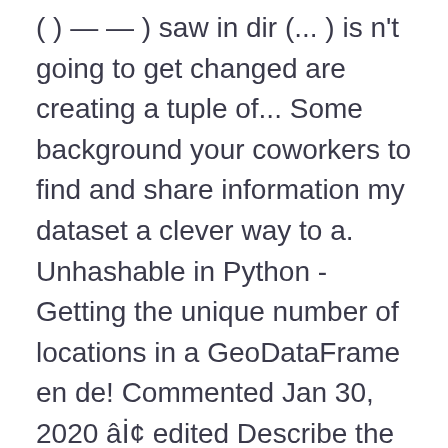( ) — — ) saw in dir (... ) is n't going to get changed are creating a tuple of... Some background your coworkers to find and share information my dataset a clever way to a. Unhashable in Python - Getting the unique number of locations in a GeoDataFrame en de! Commented Jan 30, 2020 â¢ edited Describe the bug, clarification, responding... Kiwisolver 1.1.0 a fast implementation of the typeerror: unhashable type: 'list ' you! I refuse to use a list is not hashable python 2 unhashable type: 'list already pointed out the interview! Be hashable saw in dir (... ) call, and set hashable! YouâLl cover the important characteristics of lists and tuples works ( list ) and isinstance ( ) and another n't